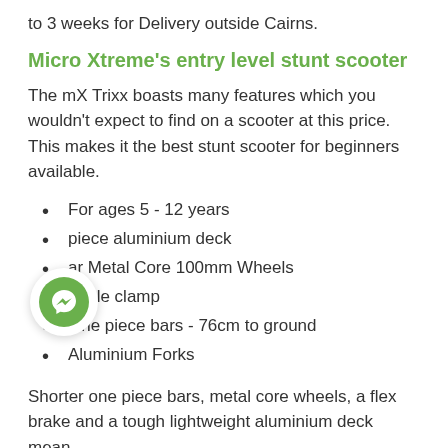to 3 weeks for Delivery outside Cairns.
Micro Xtreme's entry level stunt scooter
The mX Trixx boasts many features which you wouldn't expect to find on a scooter at this price. This makes it the best stunt scooter for beginners available.
For ages 5 - 12 years
piece aluminium deck
ar Metal Core 100mm Wheels
Triple clamp
One piece bars - 76cm to ground
Aluminium Forks
Shorter one piece bars, metal core wheels, a flex brake and a tough lightweight aluminium deck mean